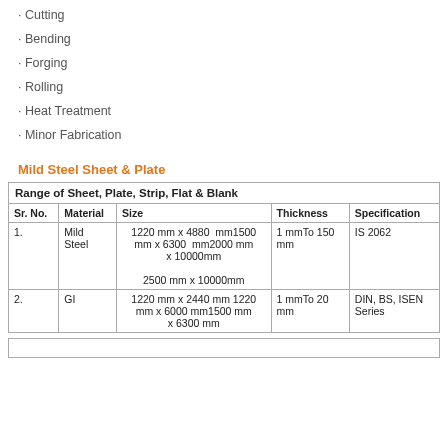· Cutting
· Bending
· Forging
· Rolling
· Heat Treatment
· Minor Fabrication
Mild Steel Sheet & Plate
| Sr. No. | Material | Size | Thickness | Specification |
| --- | --- | --- | --- | --- |
| 1. | Mild Steel | 1220 mm x 4880 mm1500 mm x 6300 mm2000 mm x 10000mm
2500 mm x 10000mm | 1 mmTo 150 mm | IS 2062 |
| 2. | GI | 1220 mm x 2440 mm 1220 mm x 6000 mm1500 mm x 6300 mm | 1 mmTo 20 mm | DIN, BS, ISEN Series |